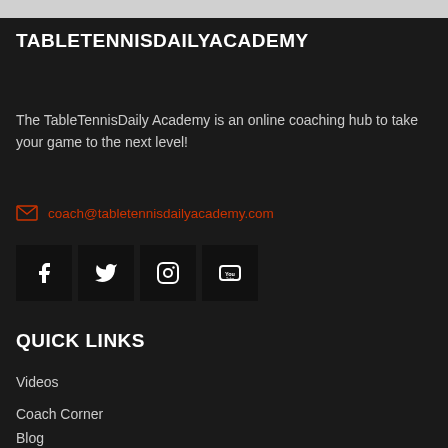TABLETENNISDAILYACADEMY
The TableTennisDaily Academy is an online coaching hub to take your game to the next level!
coach@tabletennisdailyacademy.com
[Figure (illustration): Social media icons: Facebook, Twitter, Instagram, YouTube — each in a dark square button]
QUICK LINKS
Videos
Coach Corner
Blog